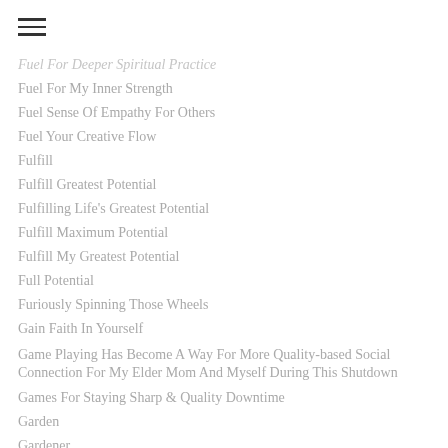Fuel For Deeper Spiritual Practice
Fuel For My Inner Strength
Fuel Sense Of Empathy For Others
Fuel Your Creative Flow
Fulfill
Fulfill Greatest Potential
Fulfilling Life's Greatest Potential
Fulfill Maximum Potential
Fulfill My Greatest Potential
Full Potential
Furiously Spinning Those Wheels
Gain Faith In Yourself
Game Playing Has Become A Way For More Quality-based Social Connection For My Elder Mom And Myself During This Shutdown
Games For Staying Sharp & Quality Downtime
Garden
Gardener